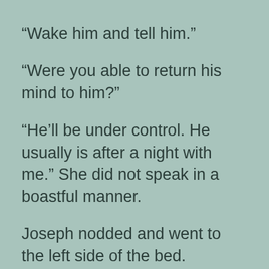“Wake him and tell him.”
“Were you able to return his mind to him?”
“He’ll be under control. He usually is after a night with me.” She did not speak in a boastful manner.
Joseph nodded and went to the left side of the bed. “Vincent.”
Mierka rolled her eyes, then reached over and shook Vincent’s shoulder.
He woke and glared at her. “There are better